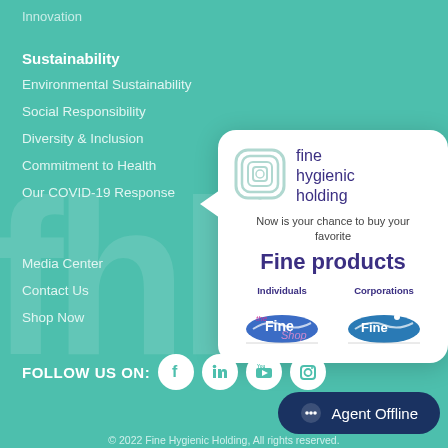Innovation
Sustainability
Environmental Sustainability
Social Responsibility
Diversity & Inclusion
Commitment to Health
Our COVID-19 Response
Media Center
Contact Us
Shop Now
[Figure (infographic): Fine Hygienic Holding popup card with logo, tagline 'Now is your chance to buy your favorite Fine products', and two buttons: Individuals (Fine Shop) and Corporations (Fine Solutions)]
FOLLOW US ON:
© 2022 Fine Hygienic Holding, All rights reserved.